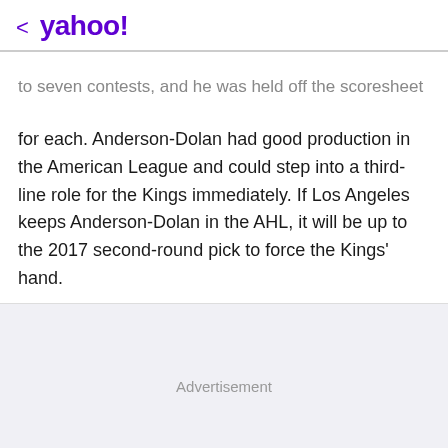< yahoo!
to seven contests, and he was held off the scoresheet for each. Anderson-Dolan had good production in the American League and could step into a third-line role for the Kings immediately. If Los Angeles keeps Anderson-Dolan in the AHL, it will be up to the 2017 second-round pick to force the Kings' hand.
Advertisement
View comments